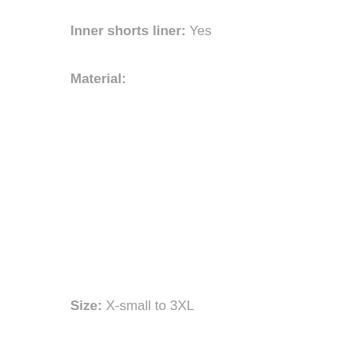Inner shorts liner: Yes
Material:
Size: X-small to 3XL